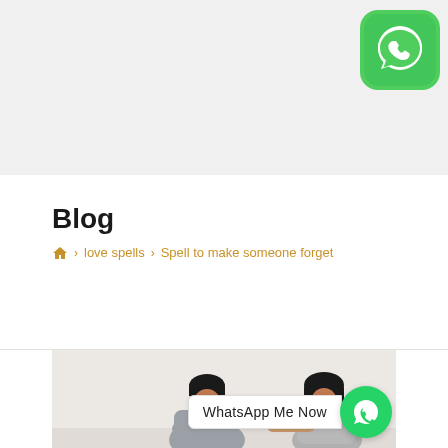Blog
Home > love spells > Spell to make someone forget
[Figure (photo): A man and a woman sitting apart looking upset or in conflict, on a gray/light background — an illustration for a 'Spell to make someone forget' blog post]
WhatsApp Me Now